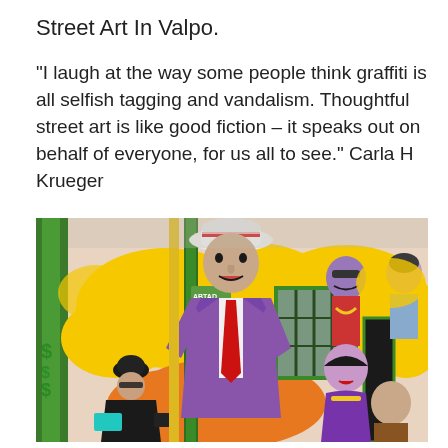Street Art In Valpo.
“I laugh at the way some people think graffiti is all selfish tagging and vandalism. Thoughtful street art is like good fiction – it speaks out on behalf of everyone, for us all to see.” Carla H Krueger
[Figure (photo): A colorful street mural in Valparaiso depicting stylized figures of people in vibrant yellows, purples, and reds on the side of a building. A person in black coat and hat stands in front of the mural.]